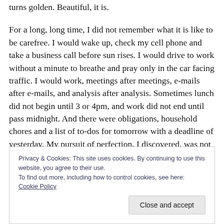turns golden. Beautiful, it is.
For a long, long time, I did not remember what it is like to be carefree. I would wake up, check my cell phone and take a business call before sun rises. I would drive to work without a minute to breathe and pray only in the car facing traffic. I would work, meetings after meetings, e-mails after e-mails, and analysis after analysis. Sometimes lunch did not begin until 3 or 4pm, and work did not end until pass midnight. And there were obligations, household chores and a list of to-dos for tomorrow with a deadline of yesterday. My pursuit of perfection, I discovered, was not
Privacy & Cookies: This site uses cookies. By continuing to use this website, you agree to their use.
To find out more, including how to control cookies, see here: Cookie Policy
Close and accept